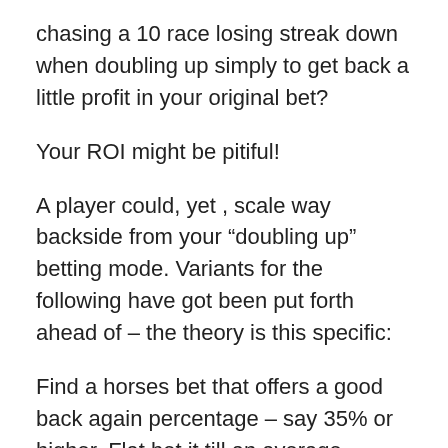chasing a 10 race losing streak down when doubling up simply to get back a little profit in your original bet?
Your ROI might be pitiful!
A player could, yet , scale way backside from your “doubling up” betting mode. Variants for the following have got been put forth ahead of – the theory is this specific:
Find a horses bet that offers a good back again percentage – say 35% or higher. Flat bet it till an average duration losing streak have been encountered – say 5 races instructions and only and then start the bets progression. You and then run the development until you includ…